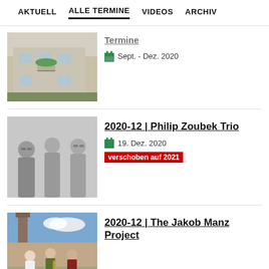AKTUELL  ALLE TERMINE  VIDEOS  ARCHIV
[Figure (photo): Partial view of apartment building with green umbrella on balcony]
Sept. - Dez. 2020
[Figure (photo): Black and white photo of three musicians (Philip Zoubek Trio)]
2020-12 | Philip Zoubek Trio
19. Dez. 2020
verschoben auf 2021
[Figure (photo): Color photo of musicians outdoors with industrial chimney (The Jakob Manz Project)]
2020-12 | The Jakob Manz Project